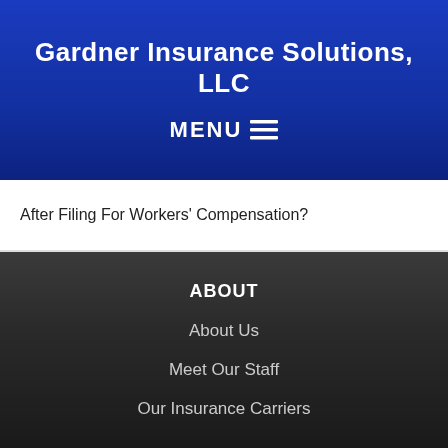Gardner Insurance Solutions, LLC
MENU ≡
After Filing For Workers' Compensation?
ABOUT
About Us
Meet Our Staff
Our Insurance Carriers